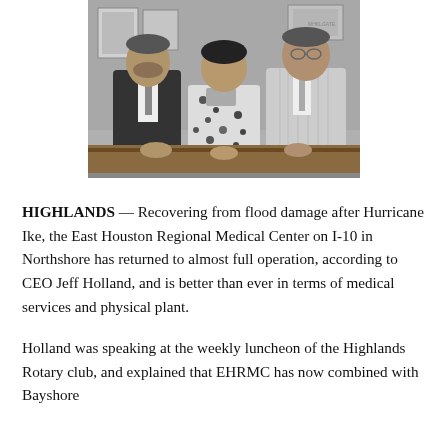[Figure (photo): Black and white photograph of three people posing together indoors. A man in a dark suit and tie on the left, a woman in a floral dress in the center holding something, and a man in a light-colored suit on the right. Background shows framed items on the wall.]
HIGHLANDS — Recovering from flood damage after Hurricane Ike, the East Houston Regional Medical Center on I-10 in Northshore has returned to almost full operation, according to CEO Jeff Holland, and is better than ever in terms of medical services and physical plant.
Holland was speaking at the weekly luncheon of the Highlands Rotary club, and explained that EHRMC has now combined with Bayshore